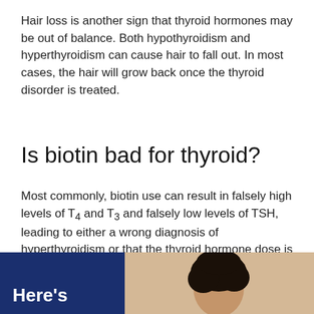Hair loss is another sign that thyroid hormones may be out of balance. Both hypothyroidism and hyperthyroidism can cause hair to fall out. In most cases, the hair will grow back once the thyroid disorder is treated.
Is biotin bad for thyroid?
Most commonly, biotin use can result in falsely high levels of T4 and T3 and falsely low levels of TSH, leading to either a wrong diagnosis of hyperthyroidism or that the thyroid hormone dose is too high.
[Figure (photo): Split image: left side dark navy blue panel with white bold text reading 'Here's', right side shows a person's head with dark curly hair against a beige/tan background]